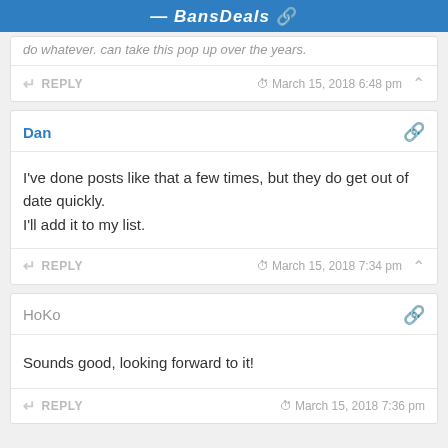BansDeas
do whatever. can take this pop up over the years.
REPLY  March 15, 2018 6:48 pm
Dan
I've done posts like that a few times, but they do get out of date quickly.
I'll add it to my list.
REPLY  March 15, 2018 7:34 pm
HoKo
Sounds good, looking forward to it!
REPLY  March 15, 2018 7:36 pm